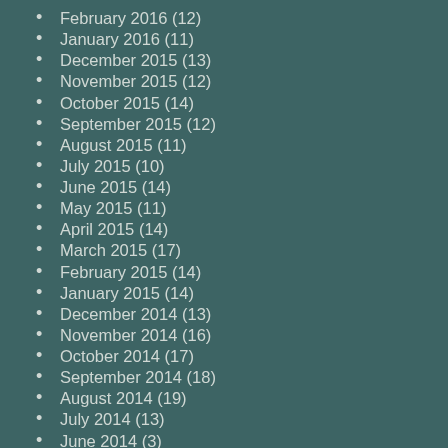February 2016 (12)
January 2016 (11)
December 2015 (13)
November 2015 (12)
October 2015 (14)
September 2015 (12)
August 2015 (11)
July 2015 (10)
June 2015 (14)
May 2015 (11)
April 2015 (14)
March 2015 (17)
February 2015 (14)
January 2015 (14)
December 2014 (13)
November 2014 (16)
October 2014 (17)
September 2014 (18)
August 2014 (19)
July 2014 (13)
June 2014 (3)
May 2014 (1)
April 2014 (2)